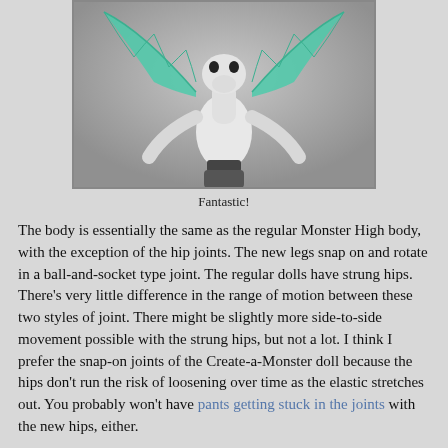[Figure (photo): A white dragon/monster toy figurine with teal/green bat wings, viewed from the front, against a grey background.]
Fantastic!
The body is essentially the same as the regular Monster High body, with the exception of the hip joints.  The new legs snap on and rotate in a ball-and-socket type joint.  The regular dolls have strung hips.  There's very little difference in the range of motion between these two styles of joint.  There might be slightly more side-to-side movement possible with the strung hips, but not a lot.  I think I prefer the snap-on joints of the Create-a-Monster doll because the hips don't run the risk of loosening over time as the elastic stretches out.  You probably won't have pants getting stuck in the joints with the new hips, either.